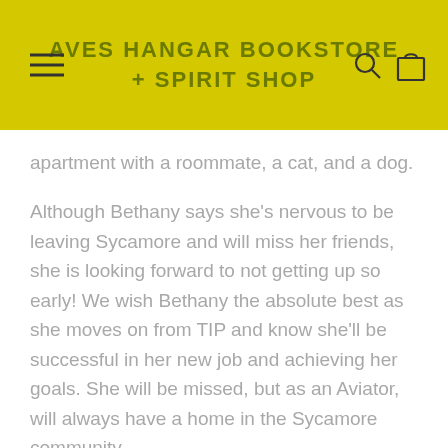AVES HANGAR BOOKSTORE + SPIRIT SHOP
apartment with a roommate, a cat, and a dog.
Although Bethany says she's nervous to be leaving Sycamore and will miss her friends, she is looking forward to not getting up so early! We wish Bethany the absolute best as she moves on from TIP and know she'll be successful in her new job and achieving her goals. She will be missed, but as an Aviator, will always have a home in the Sycamore community.